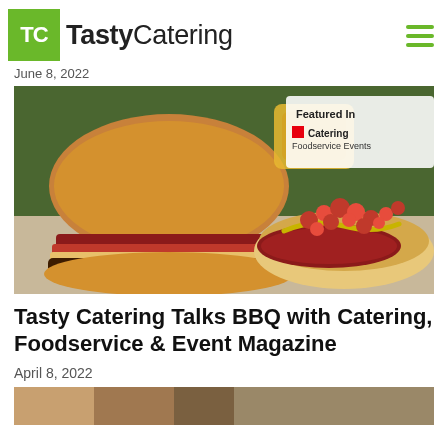TastyCatering
June 8, 2022
[Figure (photo): Close-up photo of a cheeseburger and a hot dog with mustard, relish and tomatoes, with a bounce house in the background. Overlay badge reads: Featured in Catering Foodservice Events]
Tasty Catering Talks BBQ with Catering, Foodservice & Event Magazine
April 8, 2022
[Figure (photo): Partial bottom strip of a food photo]